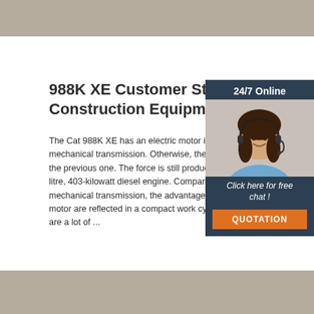[Figure (photo): Top gray/tan decorative bar]
988K XE Customer Story - Av Construction Equipment
The Cat 988K XE has an electric motor instea mechanical transmission. Otherwise, the mach the previous one. The force is still produced w litre, 403-kilowatt diesel engine. Compared to mechanical transmission, the advantages of a motor are reflected in a compact work cycle, w are a lot of ...
[Figure (photo): 24/7 Online chat widget with woman wearing headset]
Get Price
[Figure (photo): Bottom gray/tan decorative bar]